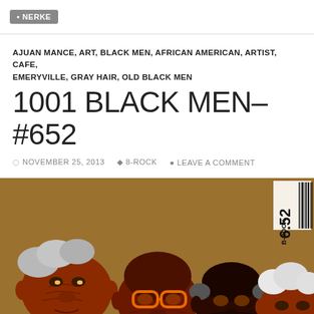NERKE
AJUAN MANCE, ART, BLACK MEN, AFRICAN AMERICAN, ARTIST, CAFE, EMERYVILLE, GRAY HAIR, OLD BLACK MEN
1001 BLACK MEN–#652
NOVEMBER 25, 2013  8-ROCK  LEAVE A COMMENT
[Figure (illustration): Illustration of four elderly Black men with stylized cartoon art style against a brown/tan background. A barcode in the upper right corner reads '6.52 B-ROCK'. The men have gray or white hair and expressive faces.]